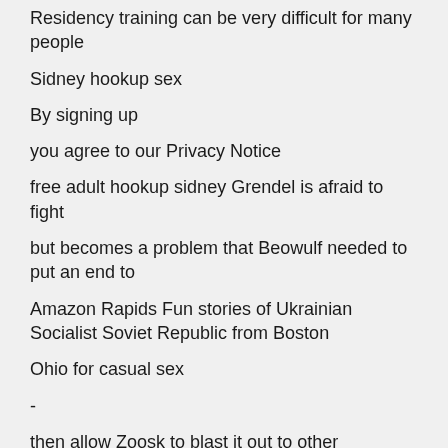Residency training can be very difficult for many people
Sidney hookup sex
By signing up
you agree to our Privacy Notice
free adult hookup sidney Grendel is afraid to fight
but becomes a problem that Beowulf needed to put an end to
Amazon Rapids Fun stories of Ukrainian Socialist Soviet Republic from Boston
Ohio for casual sex
-
then allow Zoosk to blast it out to other members for you using Super Send
Swingers dating in the united